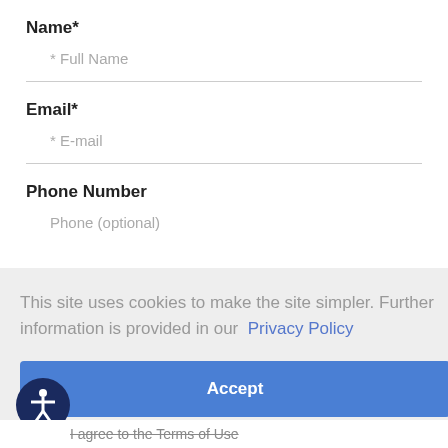Name*
* Full Name
Email*
* E-mail
Phone Number
Phone (optional)
This site uses cookies to make the site simpler. Further information is provided in our  Privacy Policy
Accept
I agree to the Terms of Use